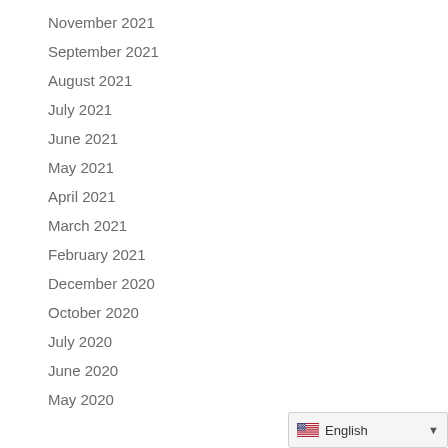November 2021
September 2021
August 2021
July 2021
June 2021
May 2021
April 2021
March 2021
February 2021
December 2020
October 2020
July 2020
June 2020
May 2020
[Figure (other): Language selector widget showing US flag and 'English' label with dropdown arrow]